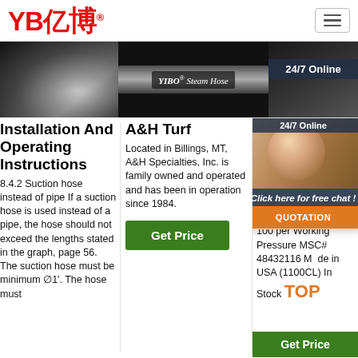[Figure (logo): YB亿博 logo in red with registered trademark symbol, hamburger menu icon top right]
[Figure (photo): Three product/promotional images: left shows a dark hose fitting, center shows YIBO Steam Hose label on black hose, right shows a customer service agent woman with headset]
Installation And Operating Instructions
8.4.2 Suction hose instead of pipe If a suction hose is used instead of a pipe, the hose should not exceed the lengths stated in the graph, page 56. The suction hose must be minimum ∅1'. The hose must
A&H Turf
Located in Billings, MT, A&H Specialties, Inc. is family owned and operated and has been in operation since 1984.
[Figure (other): Green Get Price button]
MS
1' In Out Liqu Dis Cle Vac 100 per Working Pressure MSC# 48432116 Made in USA (1100CL) In Stock
[Figure (other): Chat widget overlay: 24/7 Online badge, customer service agent photo, Click here for free chat!, QUOTATION button]
[Figure (other): TOP badge in orange]
[Figure (other): Green Get Price button at bottom right]